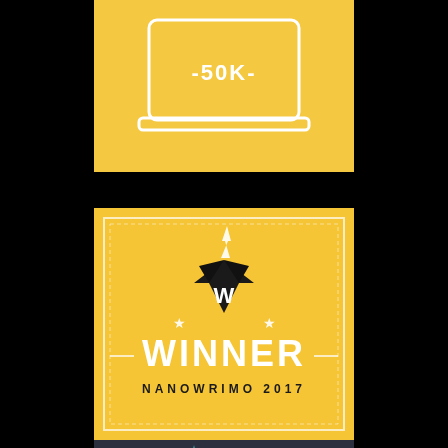[Figure (logo): NaNoWriMo 50K badge - yellow background with laptop outline showing '50K' on screen]
[Figure (logo): NaNoWriMo 2017 WINNER badge - yellow background with black diamond shape containing white W, lightning bolt above, stars on sides, 'WINNER' in bold white text, 'NANOWRIMO 2017' below, decorative border]
[Figure (logo): NaNoWriMo 2016 WINNER badge - dark navy background with rocket ship, lined paper pages on pole as flag, 'NaNo WriMo 2016 WINNER' text in coral/orange color]